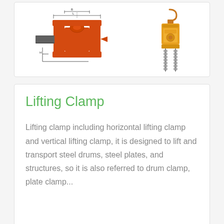[Figure (engineering-diagram): Engineering diagram of a lifting clamp mechanism (orange/red body with threaded shaft) on the left, and a photograph of a chain block hoist (yellow/orange body with hanging chain) on the right.]
Lifting Clamp
Lifting clamp including horizontal lifting clamp and vertical lifting clamp, it is designed to lift and transport steel drums, steel plates, and structures, so it is also referred to drum clamp, plate clamp...